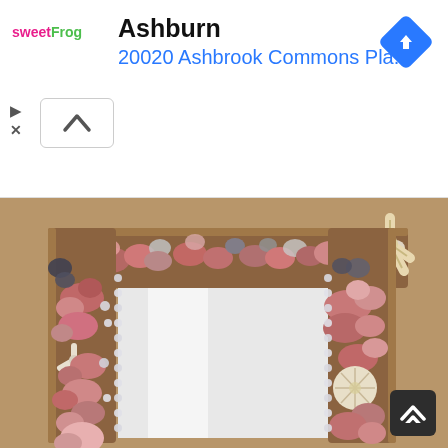[Figure (screenshot): Advertisement bar showing sweetFrog logo on left, 'Ashburn' as title in bold black, '20020 Ashbrook Commons Pla...' as blue address text, a blue diamond navigation arrow icon on the right, a play button and X close button on the far left, and a white chevron-up button below.]
[Figure (photo): Photo of a decorative mirror frame covered in seashells including starfish, sand dollars, conch shells, and various other shells in pink, white, gray, and purple tones, arranged closely together on a tan/beige wall background. The mirror reflects a white room/hallway.]